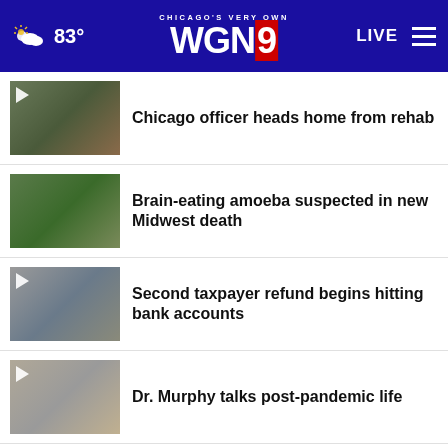Chicago's Very Own WGN9 | 83° | LIVE
Chicago officer heads home from rehab
Brain-eating amoeba suspected in new Midwest death
Second taxpayer refund begins hitting bank accounts
Dr. Murphy talks post-pandemic life
More Stories ›
SHE CAN STEM  Learn More